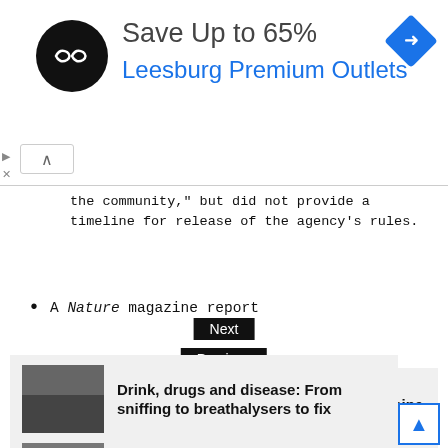[Figure (screenshot): Advertisement banner: black circular logo with double arrow, 'Save Up to 65%' in gray, 'Leesburg Premium Outlets' in blue, blue diamond arrow icon top right]
the community," but did not provide a timeline for release of the agency's rules.
A Nature magazine report
Previous
India's coronavirus explosion puts vaccine supplies at risk
Next
Drink, drugs and disease: From sniffing to breathalysers to fix